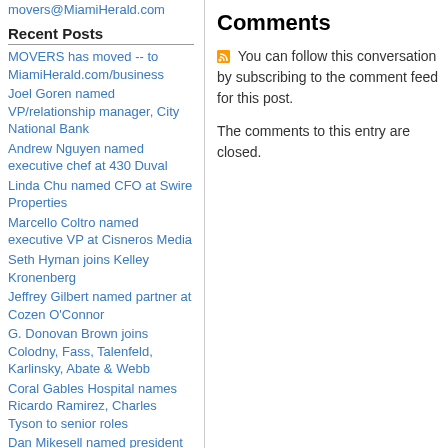movers@MiamiHerald.com
Recent Posts
MOVERS has moved -- to MiamiHerald.com/business
Joel Goren named VP/relationship manager, City National Bank
Andrew Nguyen named executive chef at 430 Duval
Linda Chu named CFO at Swire Properties
Marcello Coltro named executive VP at Cisneros Media
Seth Hyman joins Kelley Kronenberg
Jeffrey Gilbert named partner at Cozen O'Connor
G. Donovan Brown joins Colodny, Fass, Talenfeld, Karlinsky, Abate & Webb
Coral Gables Hospital names Ricardo Ramirez, Charles Tyson to senior roles
Dan Mikesell named president at One Planet Infrastructure
Comments
You can follow this conversation by subscribing to the comment feed for this post.
The comments to this entry are closed.